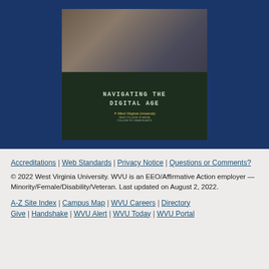[Figure (photo): A young woman looking at a laptop screen with text overlay reading 'NAVIGATING THE DIGITAL AGE' with West Virginia University logo below it. The image has a dark green/tech aesthetic.]
Accreditations | Web Standards | Privacy Notice | Questions or Comments?
© 2022 West Virginia University. WVU is an EEO/Affirmative Action employer — Minority/Female/Disability/Veteran. Last updated on August 2, 2022.
A-Z Site Index | Campus Map | WVU Careers | Directory Give | Handshake | WVU Alert | WVU Today | WVU Portal